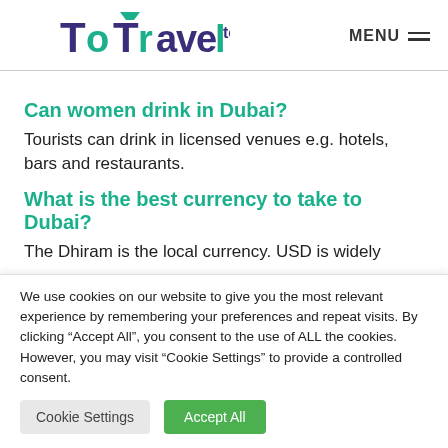[Figure (logo): ToTravelToo website logo with teal and navy text, with menu icon on the right]
Can women drink in Dubai?
Tourists can drink in licensed venues e.g. hotels, bars and restaurants.
What is the best currency to take to Dubai?
The Dhiram is the local currency. USD is widely
We use cookies on our website to give you the most relevant experience by remembering your preferences and repeat visits. By clicking “Accept All”, you consent to the use of ALL the cookies. However, you may visit “Cookie Settings” to provide a controlled consent.